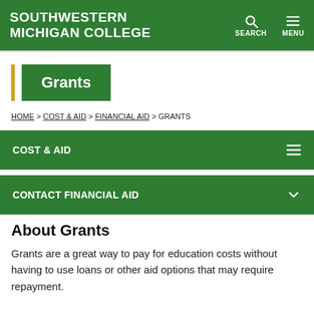SOUTHWESTERN MICHIGAN COLLEGE
Grants
HOME > COST & AID > FINANCIAL AID > GRANTS
COST & AID
CONTACT FINANCIAL AID
About Grants
Grants are a great way to pay for education costs without having to use loans or other aid options that may require repayment.